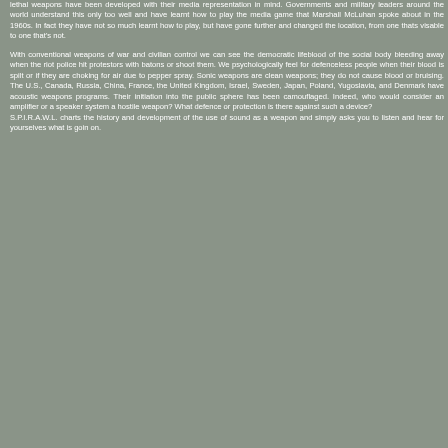lethal weapons have been developed with their media representation in mind. Governments and military leaders around the world understand this only too well and have learnt how to play the media game that Marshall McLuhan spoke about in the 1960s. In fact they have not so much learnt how to play, but have gone further and changed the location, from one thats visable to one that's not.
With conventional weapons of war and civilian control we can see the democratic lifeblood of the social body bleeding away when the riot police hit protestors with batons or shoot them. We psychologically feel for defenceless people when their blood is spilt or if they are choking for air due to pepper spray. Sonic weapons are clean weapons; they do not cause blood or bruising. The U.S., Canada, Russia, China, France, the United Kingdom, Israel, Sweden, Japan, Poland, Yugoslavia, and Denmark have acoustic weapons programs. Their initiation into the public sphere has been camouflaged. Indeed, who would consider an amplifier or a speaker system a hostile weapon? What defence or protection is there against such a device?
S.P.I.R.A.W.L. charts the history and development of the use of sound as a weapon and simply asks you to listen and hear for yourselves what is goin on.